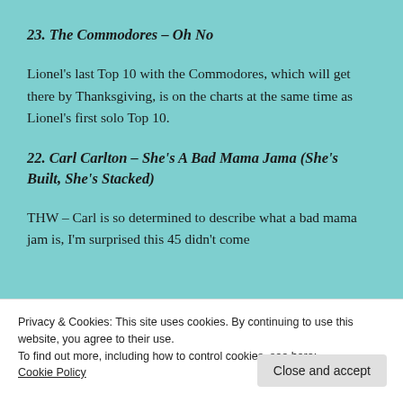23. The Commodores – Oh No
Lionel's last Top 10 with the Commodores, which will get there by Thanksgiving, is on the charts at the same time as Lionel's first solo Top 10.
22. Carl Carlton – She's A Bad Mama Jama (She's Built, She's Stacked)
THW – Carl is so determined to describe what a bad mama jam is, I'm surprised this 45 didn't come
Privacy & Cookies: This site uses cookies. By continuing to use this website, you agree to their use.
To find out more, including how to control cookies, see here:
Cookie Policy
Close and accept